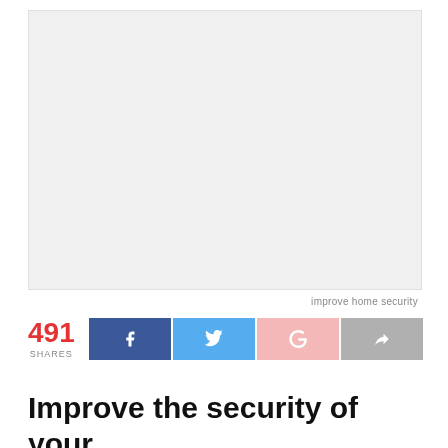[Figure (photo): Large placeholder image area with light gray background]
improve home security
491 SHARES
Improve the security of your home environment